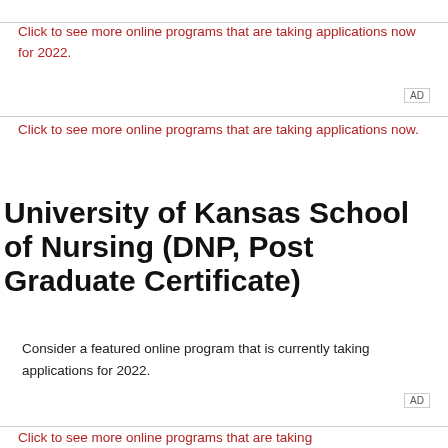Click to see more online programs that are taking applications now for 2022.
Click to see more online programs that are taking applications now.
University of Kansas School of Nursing (DNP, Post Graduate Certificate)
Consider a featured online program that is currently taking applications for 2022.
Click to see more online programs that are taking